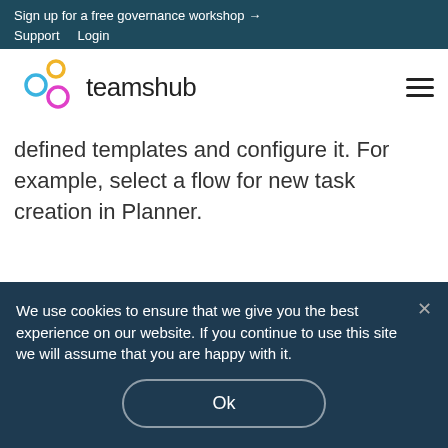Sign up for a free governance workshop →
Support   Login
[Figure (logo): Teamshub logo with three interlocking circles (yellow, blue, magenta) and wordmark 'teamshub']
defined templates and configure it. For example, select a flow for new task creation in Planner.
We use cookies to ensure that we give you the best experience on our website. If you continue to use this site we will assume that you are happy with it.